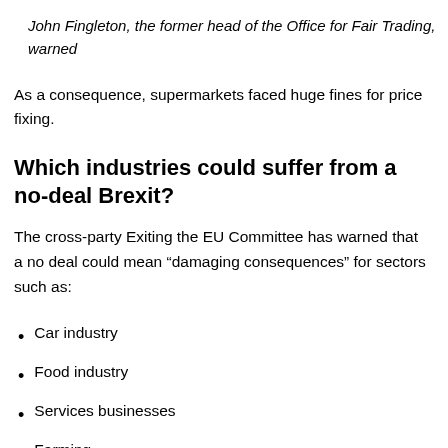John Fingleton, the former head of the Office for Fair Trading, warned
As a consequence, supermarkets faced huge fines for price fixing.
Which industries could suffer from a no-deal Brexit?
The cross-party Exiting the EU Committee has warned that a no deal could mean “damaging consequences” for sectors such as:
Car industry
Food industry
Services businesses
Farming
Pharmaceuticals